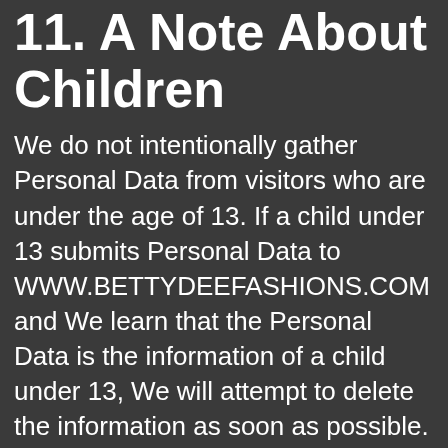11. A Note About Children
We do not intentionally gather Personal Data from visitors who are under the age of 13. If a child under 13 submits Personal Data to WWW.BETTYDEEFASHIONS.COM and We learn that the Personal Data is the information of a child under 13, We will attempt to delete the information as soon as possible. If You believe that We might have any Personal Data from a child under 13, please contact Us at support@CONTRIB.com